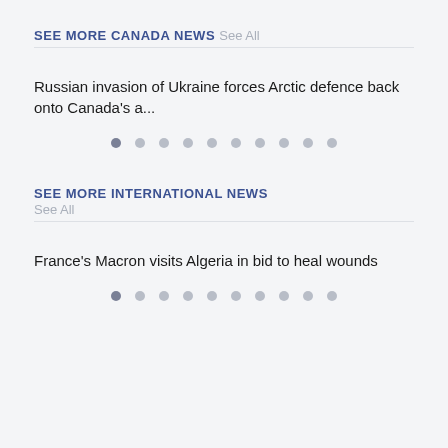SEE MORE CANADA NEWS See All
Russian invasion of Ukraine forces Arctic defence back onto Canada's a...
SEE MORE INTERNATIONAL NEWS
See All
France's Macron visits Algeria in bid to heal wounds